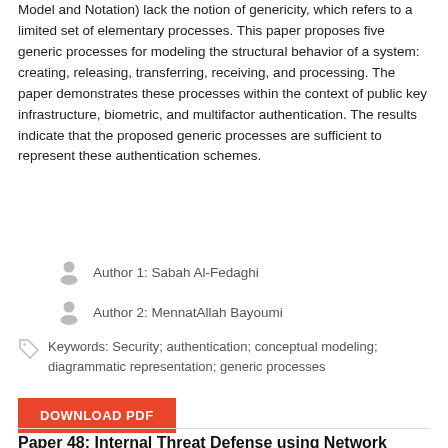Model and Notation) lack the notion of genericity, which refers to a limited set of elementary processes. This paper proposes five generic processes for modeling the structural behavior of a system: creating, releasing, transferring, receiving, and processing. The paper demonstrates these processes within the context of public key infrastructure, biometric, and multifactor authentication. The results indicate that the proposed generic processes are sufficient to represent these authentication schemes.
Author 1: Sabah Al-Fedaghi
Author 2: MennatAllah Bayoumi
Keywords: Security; authentication; conceptual modeling; diagrammatic representation; generic processes
DOWNLOAD PDF
Paper 48: Internal Threat Defense using Network Access Control and Intrusion Prevention System